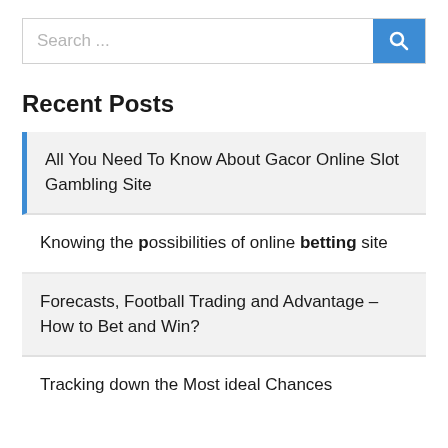Search ...
Recent Posts
All You Need To Know About Gacor Online Slot Gambling Site
Knowing the possibilities of online betting site
Forecasts, Football Trading and Advantage – How to Bet and Win?
Tracking down the Most ideal Chances